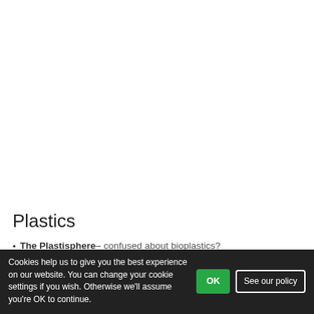Plastics
The Plastisphere– confused about bioplastics?
"What happens if bioplastics end up in the environment? In this episode, Anja takes a closer look at synthetic polymers marketed as more environmentally friendly."
Cookies help us to give you the best experience on our website. You can change your cookie settings if you wish. Otherwise we'll assume you're OK to continue.